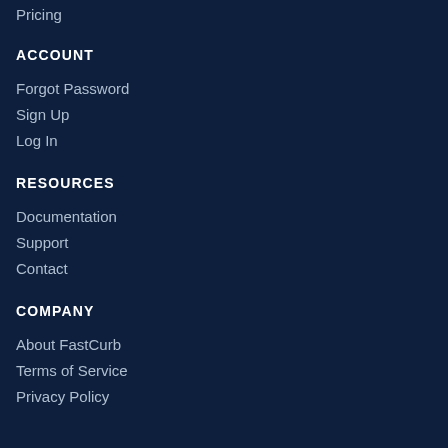Pricing
ACCOUNT
Forgot Password
Sign Up
Log In
RESOURCES
Documentation
Support
Contact
COMPANY
About FastCurb
Terms of Service
Privacy Policy